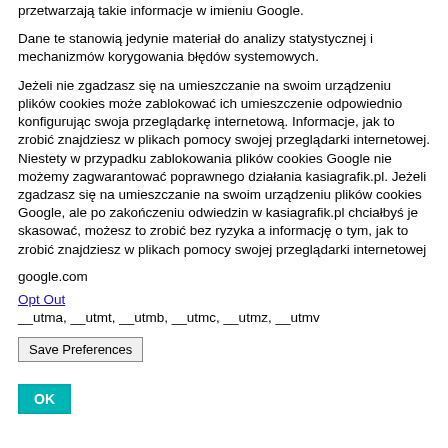przetwarzają takie informacje w imieniu Google.
Dane te stanowią jedynie materiał do analizy statystycznej i mechanizmów korygowania błędów systemowych.
Jeżeli nie zgadzasz się na umieszczanie na swoim urządzeniu plików cookies może zablokować ich umieszczenie odpowiednio konfigurując swoja przeglądarkę internetową. Informacje, jak to zrobić znajdziesz w plikach pomocy swojej przeglądarki internetowej. Niestety w przypadku zablokowania plików cookies Google nie możemy zagwarantować poprawnego działania kasiagrafik.pl. Jeżeli zgadzasz się na umieszczanie na swoim urządzeniu plików cookies Google, ale po zakończeniu odwiedzin w kasiagrafik.pl chciałbyś je skasować, możesz to zrobić bez ryzyka a informację o tym, jak to zrobić znajdziesz w plikach pomocy swojej przeglądarki internetowej
google.com
Opt Out
__utma, __utmt, __utmb, __utmc, __utmz, __utmv
Save Preferences
OK